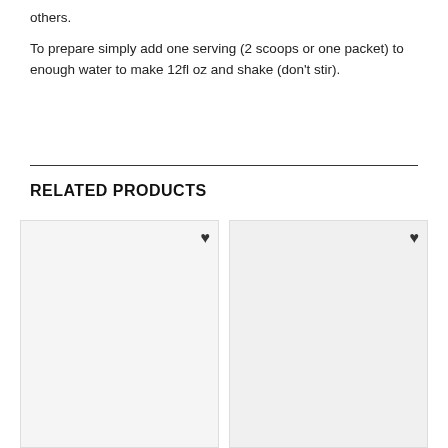others.
To prepare simply add one serving (2 scoops or one packet) to enough water to make 12fl oz and shake (don’t stir).
RELATED PRODUCTS
[Figure (photo): Skratch Labs Sport Energy Chews raspberry flavor, showing box and multiple individual packets]
[Figure (photo): HumanN BeetElite Black Cherry Endurance Superfood product box with packets, with overlay text 'Same product, new look!']